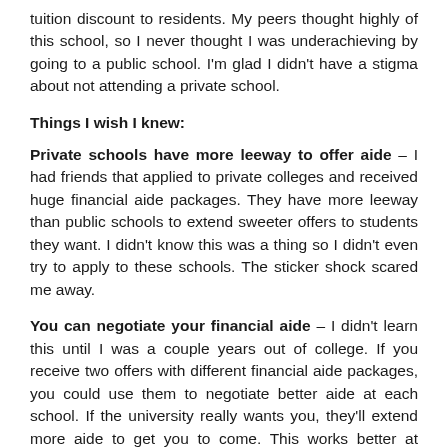tuition discount to residents. My peers thought highly of this school, so I never thought I was underachieving by going to a public school. I'm glad I didn't have a stigma about not attending a private school.
Things I wish I knew:
Private schools have more leeway to offer aide – I had friends that applied to private colleges and received huge financial aide packages. They have more leeway than public schools to extend sweeter offers to students they want. I didn't know this was a thing so I didn't even try to apply to these schools. The sticker shock scared me away.
You can negotiate your financial aide – I didn't learn this until I was a couple years out of college. If you receive two offers with different financial aide packages, you could use them to negotiate better aide at each school. If the university really wants you, they'll extend more aide to get you to come. This works better at private universities.